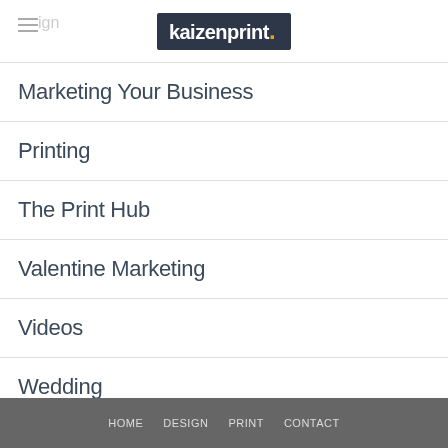[Figure (logo): Kaizenprint logo — white text on dark navy background with orange dot]
Marketing Your Business
Printing
The Print Hub
Valentine Marketing
Videos
Wedding
Weddings
HOME   DESIGN   PRINT   CONTACT